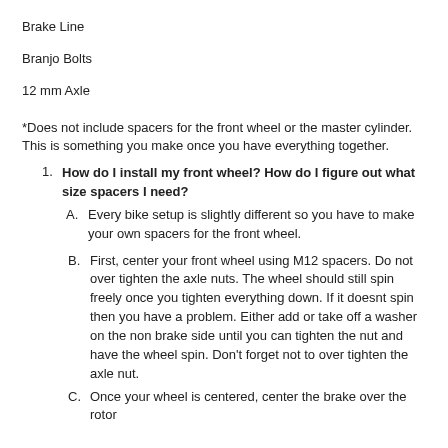Brake Line
Branjo Bolts
12 mm Axle
*Does not include spacers for the front wheel or the master cylinder. This is something you make once you have everything together.
How do I install my front wheel? How do I figure out what size spacers I need?
A. Every bike setup is slightly different so you have to make your own spacers for the front wheel.
B. First, center your front wheel using M12 spacers. Do not over tighten the axle nuts. The wheel should still spin freely once you tighten everything down. If it doesnt spin then you have a problem. Either add or take off a washer on the non brake side until you can tighten the nut and have the wheel spin. Don’t forget not to over tighten the axle nut.
C. Once your wheel is centered, center the brake over the rotor